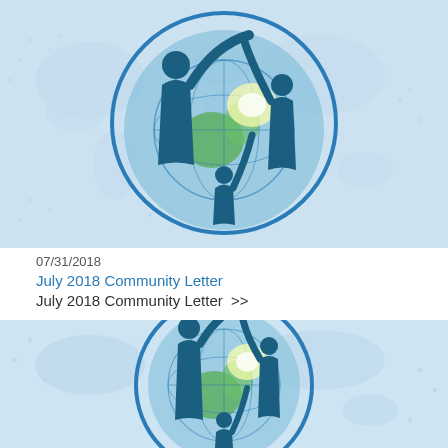[Figure (illustration): Community letter banner image: light blue world map background with oval logo showing silhouettes of people holding up a globe with green continents and yellow-white light glow]
07/31/2018
July 2018 Community Letter
July 2018 Community Letter  >>
[Figure (illustration): Second community letter banner image: same light blue world map background with circular logo showing silhouettes of people holding a globe with green continents and yellow-white light glow]